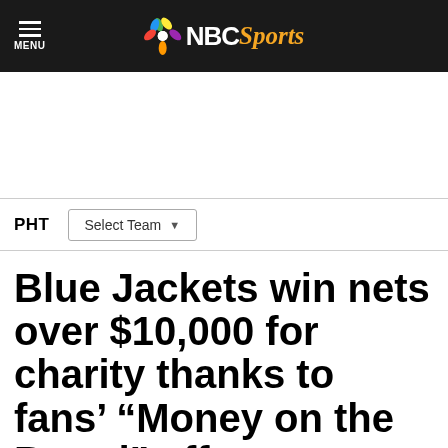NBC Sports
[Figure (other): Advertisement/blank area below header]
PHT   Select Team
Blue Jackets win nets over $10,000 for charity thanks to fans' “Money on the Board” effort
By Joe Yerdon   Jan 15, 2011, 9:45 AM EST